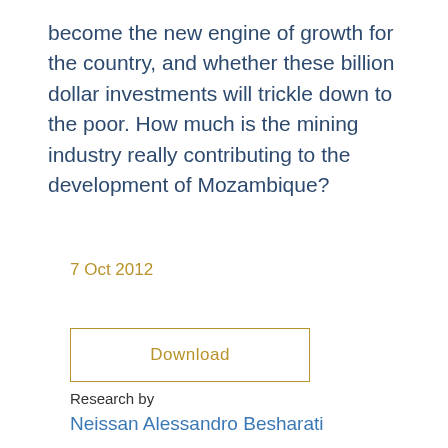become the new engine of growth for the country, and whether these billion dollar investments will trickle down to the poor. How much is the mining industry really contributing to the development of Mozambique?
7 Oct 2012
Download
Research by
Neissan Alessandro Besharati